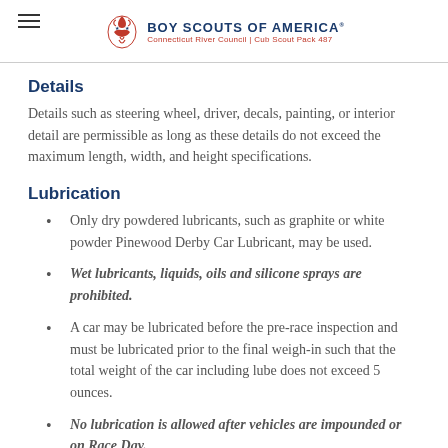Boy Scouts of America — Connecticut River Council | Cub Scout Pack 487
Details
Details such as steering wheel, driver, decals, painting, or interior detail are permissible as long as these details do not exceed the maximum length, width, and height specifications.
Lubrication
Only dry powdered lubricants, such as graphite or white powder Pinewood Derby Car Lubricant, may be used.
Wet lubricants, liquids, oils and silicone sprays are prohibited.
A car may be lubricated before the pre-race inspection and must be lubricated prior to the final weigh-in such that the total weight of the car including lube does not exceed 5 ounces.
No lubrication is allowed after vehicles are impounded or on Race Day.